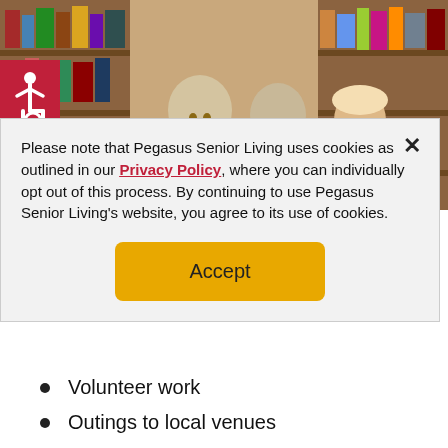[Figure (photo): Elderly people browsing books in a library, viewed between bookshelves]
[Figure (illustration): Wheelchair accessibility icon in white on a crimson/red background square]
Please note that Pegasus Senior Living uses cookies as outlined in our Privacy Policy, where you can individually opt out of this process. By continuing to use Pegasus Senior Living's website, you agree to its use of cookies.
Accept
Volunteer work
Outings to local venues
Gardening